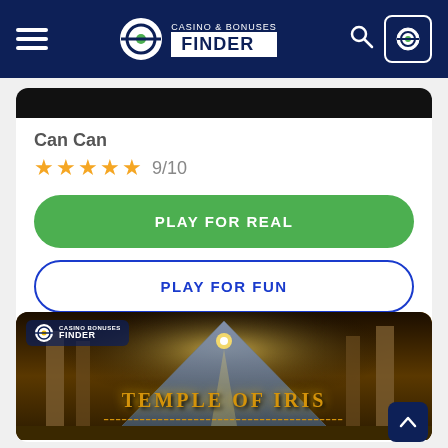Casino & Bonuses Finder
Can Can
★★★★★ 9/10
PLAY FOR REAL
PLAY FOR FUN
[Figure (screenshot): Temple of Iris slot game screenshot showing Egyptian pyramid with eye-of-Ra beam, columns, and golden title text reading TEMPLE OF IRIS]
TEMPLE OF IRIS